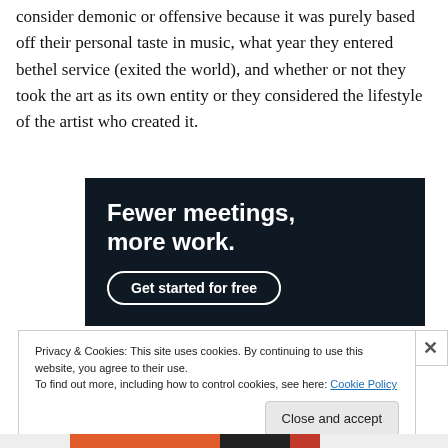consider demonic or offensive because it was purely based off their personal taste in music, what year they entered bethel service (exited the world), and whether or not they took the art as its own entity or they considered the lifestyle of the artist who created it.
[Figure (other): Advertisement banner with dark navy background. Bold white text reads 'Fewer meetings, more work.' with a rounded white-outlined button 'Get started for free'.]
Privacy & Cookies: This site uses cookies. By continuing to use this website, you agree to their use.
To find out more, including how to control cookies, see here: Cookie Policy
Close and accept